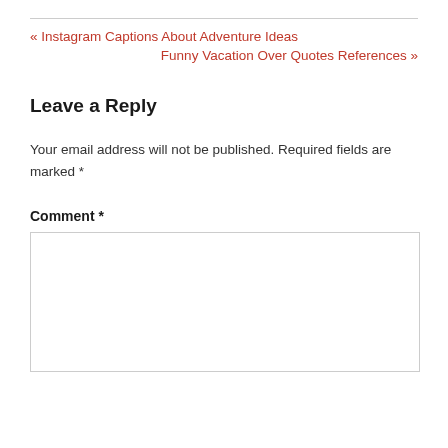« Instagram Captions About Adventure Ideas
Funny Vacation Over Quotes References »
Leave a Reply
Your email address will not be published. Required fields are marked *
Comment *